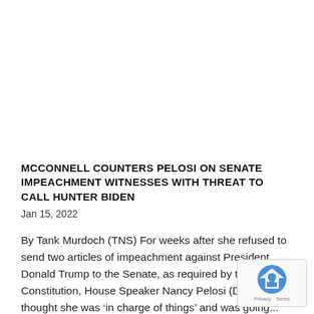MCCONNELL COUNTERS PELOSI ON SENATE IMPEACHMENT WITNESSES WITH THREAT TO CALL HUNTER BIDEN
Jan 15, 2022
By Tank Murdoch (TNS) For weeks after she refused to send two articles of impeachment against President Donald Trump to the Senate, as required by the Constitution, House Speaker Nancy Pelosi (D-Calif.) thought she was ‘in charge of things’ and was going...